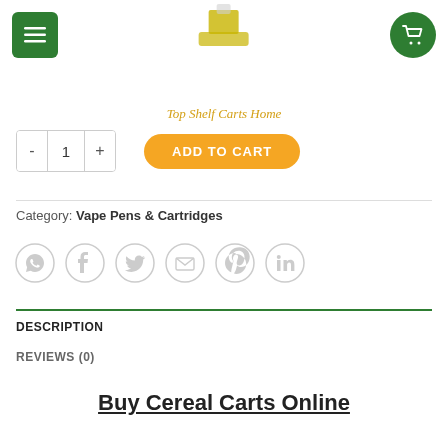Top Shelf Carts Home
- 1 +  ADD TO CART
Category: Vape Pens & Cartridges
[Figure (infographic): Social share icons: WhatsApp, Facebook, Twitter, Email, Pinterest, LinkedIn — all gray outlined circles]
DESCRIPTION
REVIEWS (0)
Buy Cereal Carts Online